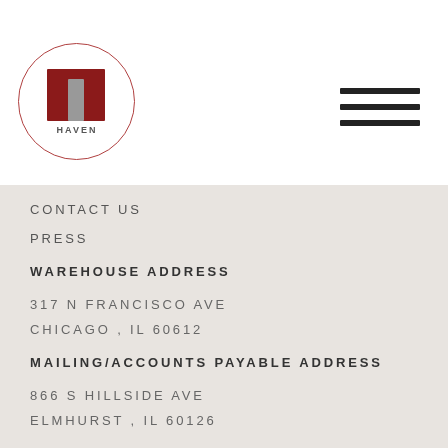[Figure (logo): Haven logo: red square with gray rectangle inside, text HAVEN below, enclosed in a circle outline]
[Figure (other): Hamburger menu icon with three horizontal dark lines]
CONTACT US
PRESS
WAREHOUSE ADDRESS
317 N FRANCISCO AVE
CHICAGO, IL 60612
MAILING/ACCOUNTS PAYABLE ADDRESS
866 S HILLSIDE AVE
ELMHURST, IL 60126
312-380-1276